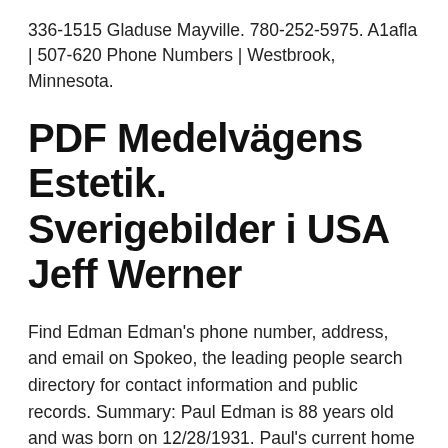336-1515 Gladuse Mayville. 780-252-5975. A1afla | 507-620 Phone Numbers | Westbrook, Minnesota.
PDF Medelvägens Estetik. Sverigebilder i USA Jeff Werner
Find Edman Edman's phone number, address, and email on Spokeo, the leading people search directory for contact information and public records. Summary: Paul Edman is 88 years old and was born on 12/28/1931. Paul's current home is located at Madison, CT. Sometimes Paul goes by various nicknames including Paul Ediman, Paul K Edman and Paul Kenneth Edman.